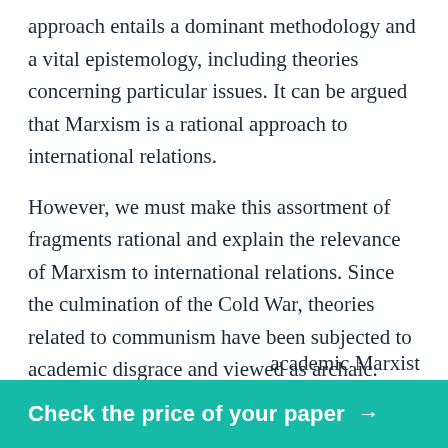approach entails a dominant methodology and a vital epistemology, including theories concerning particular issues. It can be argued that Marxism is a rational approach to international relations.
However, we must make this assortment of fragments rational and explain the relevance of Marxism to international relations. Since the culmination of the Cold War, theories related to communism have been subjected to academic disgrace and viewed as archaic.
More importantly, world-system theory is perceived as being vitally concerned with the function of economics in establishing all elements of political and social relations, in addition to being extremely pessimistic, providing few avenues of real escape from
[Figure (other): Green call-to-action button with text 'Check the price of your paper →']
academic Marxist